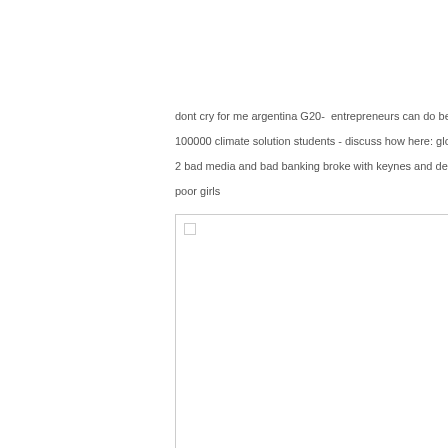dont cry for me argentina G20-  entrepreneurs can do better than paris
100000 climate solution students - discuss how here: gloing global's st
2 bad media and bad banking broke with keynes and designed macro
poor girls
[Figure (other): Empty white box with a small checkbox-like element in the top-left corner]